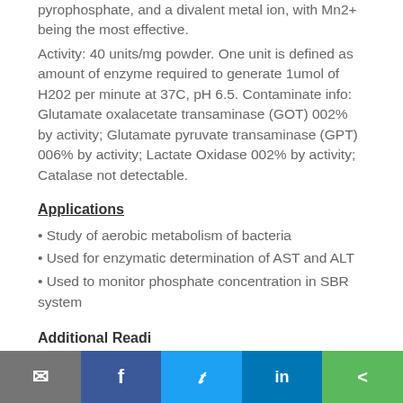pyrophosphate, and a divalent metal ion, with Mn2+ being the most effective.
Activity: 40 units/mg powder. One unit is defined as amount of enzyme required to generate 1umol of H202 per minute at 37C, pH 6.5. Contaminate info: Glutamate oxalacetate transaminase (GOT) 002% by activity; Glutamate pyruvate transaminase (GPT) 006% by activity; Lactate Oxidase 002% by activity; Catalase not detectable.
Applications
• Study of aerobic metabolism of bacteria
• Used for enzymatic determination of AST and ALT
• Used to monitor phosphate concentration in SBR system
Additional Reading